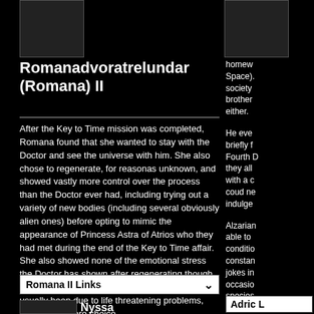[Figure (photo): Thumbnail image placeholder (dark box)]
Romanadvoratrelundar (Romana) II
After the Key to Time mission was completed, Romana found that she wanted to stay with the Doctor and see the universe with him. She also chose to regenerate, for reasonas unknown, and showed vastly more control over the process than the Doctor ever had, including trying out a variety of new bodies (including several obviously alien ones) before opting to mimic the appearance of Princess Astra of Atrios who they had met during the end of the Key to Time affair. She also showed none of the emotional stress the Doctor has shown after regenerating though, to be fair, the Doctor's regenerations have usually been due to life threatening problems, rather than mere choice.
This new Romana was lighter in manner, more easygoing and more whimsical, though still with a phenomenal intellect and a somewhat impatient approach to lesser minds.
Finally summoned back to Gallifrey, she chose to ignore the summons, and ended up remaining in the parallel dimension of E-Space, in the company of the first K-9 (a farewell gift from the Doctor) and Lazlo, a member of the Time Sensitive Tharil's.
Romana II Links
[Figure (photo): Small thumbnail at bottom left]
Nyssa
homew Space). society brother either.
He eve briefly f Fourth D they all with a c coud ne indulge
Alzarian able to conditio constan jokes in occasio species
Still not opted to was reg happen Cyberm and the the dino of comp dying
Adric L